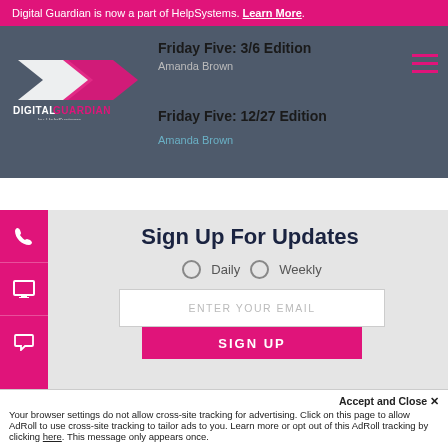Digital Guardian is now a part of HelpSystems. Learn More.
Friday Five: 3/6 Edition
Amanda Brown
Friday Five: 12/27 Edition
Amanda Brown
Sign Up For Updates
Daily   Weekly
ENTER YOUR EMAIL
SIGN UP
Accept and Close ✕
Your browser settings do not allow cross-site tracking for advertising. Click on this page to allow AdRoll to use cross-site tracking to tailor ads to you. Learn more or opt out of this AdRoll tracking by clicking here. This message only appears once.